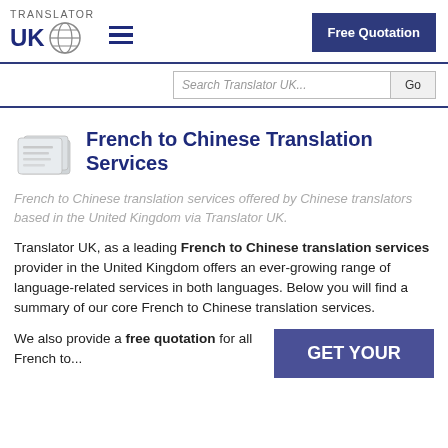Translator UK — Free Quotation
[Figure (logo): Translator UK logo with globe and hamburger menu icon]
Search Translator UK...
French to Chinese Translation Services
French to Chinese translation services offered by Chinese translators based in the United Kingdom via Translator UK.
Translator UK, as a leading French to Chinese translation services provider in the United Kingdom offers an ever-growing range of language-related services in both languages. Below you will find a summary of our core French to Chinese translation services.
We also provide a free quotation for all French to...
GET YOUR